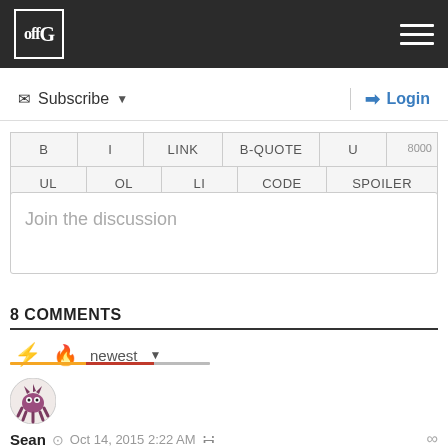offG [logo] [hamburger menu]
Subscribe ▼
Login
[Figure (screenshot): Comment editor toolbar with buttons: B, I, LINK, B-QUOTE, U, 8000, UL, OL, LI, CODE, SPOILER]
Join the discussion
8 COMMENTS
⚡ 🔥 newest ▼
[Figure (illustration): User avatar for Sean - circular avatar with monster/octopus illustration in purple/pink tones]
Sean  Oct 14, 2015 2:22 AM